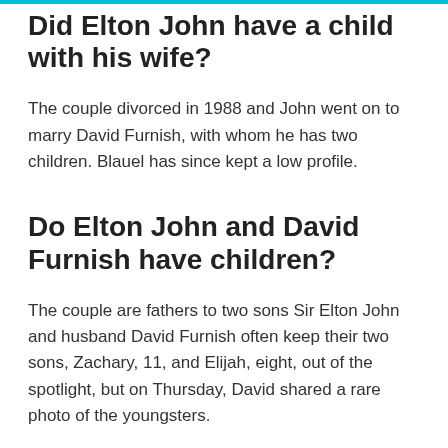Did Elton John have a child with his wife?
The couple divorced in 1988 and John went on to marry David Furnish, with whom he has two children. Blauel has since kept a low profile.
Do Elton John and David Furnish have children?
The couple are fathers to two sons Sir Elton John and husband David Furnish often keep their two sons, Zachary, 11, and Elijah, eight, out of the spotlight, but on Thursday, David shared a rare photo of the youngsters.